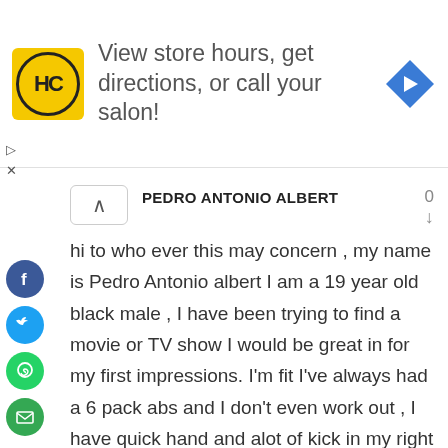[Figure (infographic): Advertisement banner with HC salon logo (yellow circle with HC text) and text 'View store hours, get directions, or call your salon!' with a blue direction arrow icon on the right. Small play and X controls at bottom left.]
PEDRO ANTONIO ALBERT
hi to who ever this may concern , my name is Pedro Antonio albert I am a 19 year old black male , I have been trying to find a movie or TV show I would be great in for my first impressions. I'm fit I've always had a 6 pack abs and I don't even work out , I have quick hand and alot of kick in my right hooks, if you would give me the time of day I would love to show everyone that I would be great for